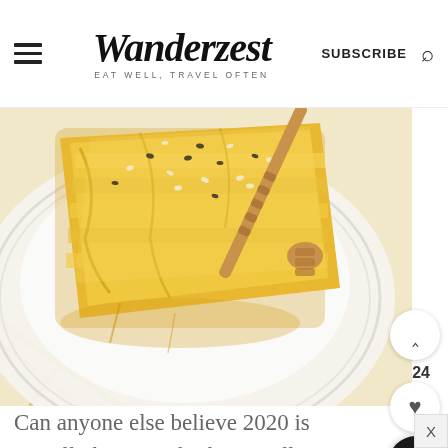Wanderzest — EAT WELL, TRAVEL OFTEN — SUBSCRIBE
[Figure (photo): Close-up overhead photo of a golden pastry or honey cake slice topped with sesame seeds on a white ridged plate with a wooden honey dipper, on a patterned cloth with gold diagonal lines]
Can anyone else believe 2020 is actually here?? I think I'm still in denial that we've